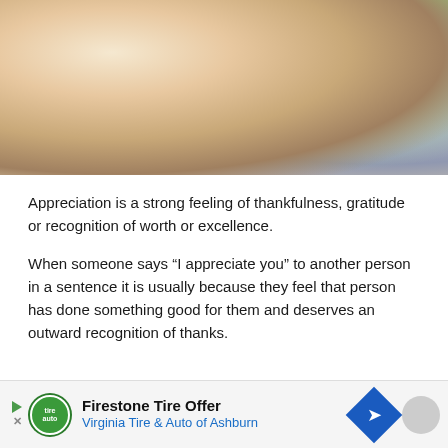[Figure (photo): Photo of students walking outdoors, carrying books, backpacks, and a coffee cup, in a campus setting with green trees in background. Image is cropped showing bodies from neck/shoulders down.]
Appreciation is a strong feeling of thankfulness, gratitude or recognition of worth or excellence.
When someone says “I appreciate you” to another person in a sentence it is usually because they feel that person has done something good for them and deserves an outward recognition of thanks.
[Figure (other): Advertisement banner: Firestone Tire Offer - Virginia Tire & Auto of Ashburn, with logo, navigation arrow icon, and close button.]